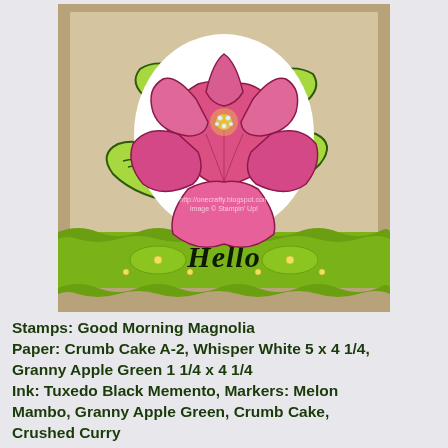[Figure (photo): A handmade greeting card on kraft/crumb cake cardstock featuring a large pink magnolia flower with green leaves (colored with markers), mounted on white paper. A lime green decorative band across the lower portion reads 'Hello' in script, with small rhinestone embellishments.]
Stamps: Good Morning Magnolia
Paper: Crumb Cake A-2, Whisper White 5 x 4 1/4, Granny Apple Green 1 1/4 x 4 1/4
Ink: Tuxedo Black Memento, Markers: Melon Mambo, Granny Apple Green, Crumb Cake, Crushed Curry